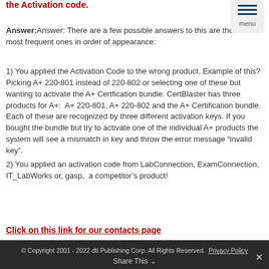the Activation code.
Answer:Answer: There are a few possible answers to this are the three most frequent ones in order of appearance:
1) You applied the Activation Code to the wrong product. Example of this? Picking A+ 220-801 instead of 220-802 or selecting one of these but wanting to activate the A+ Certfication bundle. CertBlaster has three products for A+:  A+ 220-801, A+ 220-802 and the A+ Certification bundle. Each of these are recognized by three different activation keys. If you bought the bundle but try to activate one of the individual A+ products the system will see a mismatch in key and throw the error message “invalid key”.
2) You applied an activation code from LabConnection, ExamConnection, IT_LabWorks or, gasp,  a competitor’s product!
Click on this link for our contacts page
© Copyright 2001 - 2022 dti Publishing Corp. All Rights Reserved. Privacy Policy
Share This